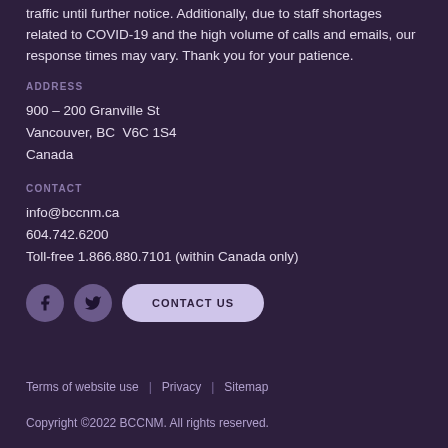traffic until further notice. Additionally, due to staff shortages related to COVID-19 and the high volume of calls and emails, our response times may vary. Thank you for your patience.
ADDRESS
900 – 200 Granville St
Vancouver, BC  V6C 1S4
Canada
CONTACT
info@bccnm.ca
604.742.6200
Toll-free 1.866.880.7101 (within Canada only)
[Figure (other): Facebook icon button, Twitter icon button, and Contact Us pill button]
Terms of website use  |  Privacy  |  Sitemap
Copyright ©2022 BCCNM. All rights reserved.